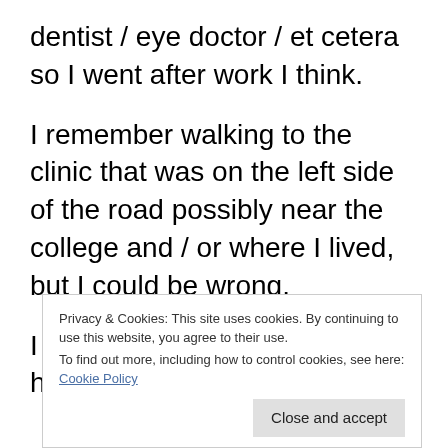dentist / eye doctor / et cetera so I went after work I think.
I remember walking to the clinic that was on the left side of the road possibly near the college and / or where I lived, but I could be wrong.
I remember walking down a hallway to the waiting room and to somewhere in the clinic down the hallway looking happy and was
Privacy & Cookies: This site uses cookies. By continuing to use this website, you agree to their use.
To find out more, including how to control cookies, see here: Cookie Policy